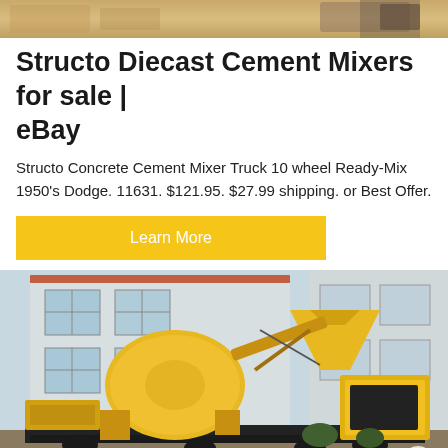[Figure (photo): Top portion of a sandy/earthy outdoor scene, partially cropped at top of page]
Structo Diecast Cement Mixers for sale | eBay
Structo Concrete Cement Mixer Truck 10 wheel Ready-Mix 1950's Dodge. 11631. $121.95. $27.99 shipping. or Best Offer.
[Figure (other): Yellow 'Learn More' button]
[Figure (photo): Large yellow cement mixer machine photographed outdoors with a building in the background]